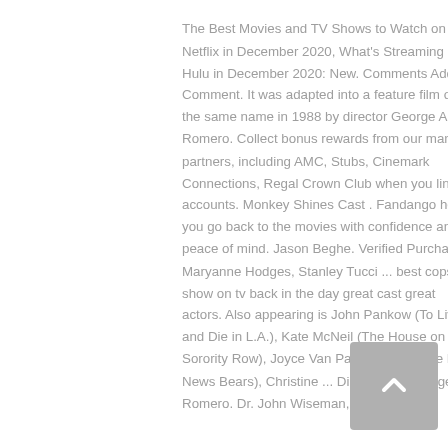The Best Movies and TV Shows to Watch on Netflix in December 2020, What's Streaming on Hulu in December 2020: New. Comments Add a Comment. It was adapted into a feature film of the same name in 1988 by director George A. Romero. Collect bonus rewards from our many partners, including AMC, Stubs, Cinemark Connections, Regal Crown Club when you link accounts. Monkey Shines Cast . Fandango helps you go back to the movies with confidence and peace of mind. Jason Beghe. Verified Purchase. Maryanne Hodges, Stanley Tucci ... best cops show on tv back in the day great cast great actors. Also appearing is John Pankow (To Live and Die in L.A.), Kate McNeil (The House on Sorority Row), Joyce Van Patten (Bone, The Bad News Bears), Christine ... Directed by George A. Romero. Dr. John Wiseman, Thomas